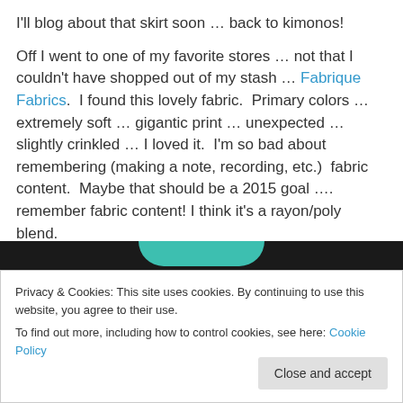I'll blog about that skirt soon … back to kimonos!
Off I went to one of my favorite stores … not that I couldn't have shopped out of my stash … Fabrique Fabrics.  I found this lovely fabric.  Primary colors … extremely soft … gigantic print … unexpected … slightly crinkled … I loved it.  I'm so bad about remembering (making a note, recording, etc.)  fabric content.  Maybe that should be a 2015 goal …. remember fabric content! I think it's a rayon/poly blend.
[Figure (photo): Dark background with a teal rounded shape at the top, partial view of a fabric or product image]
Privacy & Cookies: This site uses cookies. By continuing to use this website, you agree to their use.
To find out more, including how to control cookies, see here: Cookie Policy
Close and accept